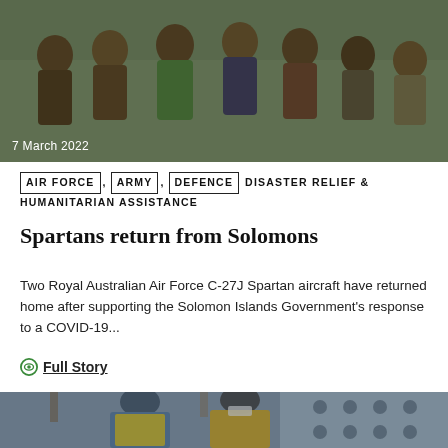[Figure (photo): Group of happy children waving at the camera outdoors]
7 March 2022
AIR FORCE , ARMY , DEFENCE DISASTER RELIEF & HUMANITARIAN ASSISTANCE
Spartans return from Solomons
Two Royal Australian Air Force C-27J Spartan aircraft have returned home after supporting the Solomon Islands Government's response to a COVID-19...
Full Story
[Figure (photo): Two military personnel in high-visibility vests and masks working inside what appears to be a military transport aircraft]